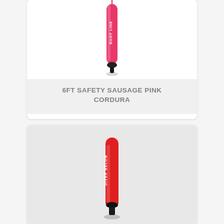[Figure (photo): Pink safety sausage/SMB (Surface Marker Buoy) standing vertically, inflated, with text on it, against white background. Partial view — top portion cut off.]
6ft SAFETY SAUSAGE PINK CORDURA
[Figure (photo): Red safety sausage/SMB (Surface Marker Buoy) standing vertically, fully inflated, with white text branding on it, against a light gray background.]